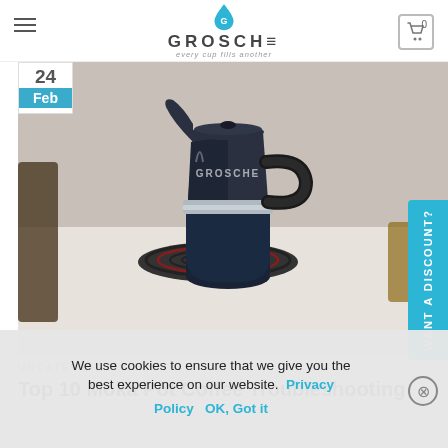GROSCHE — every cup fills another
[Figure (photo): A dark blue/black Grosche moka pot sitting on a stovetop electric burner, photographed from slightly above on a white kitchen counter background.]
24
Feb
WANT A DISCOUNT?
UNCATEGORIZED
Top 10 Moka Pot Coffee Troubleshooting Questions/Answers of the…
We use cookies to ensure that we give you the best experience on our website.  Privacy Policy  OK, Got it